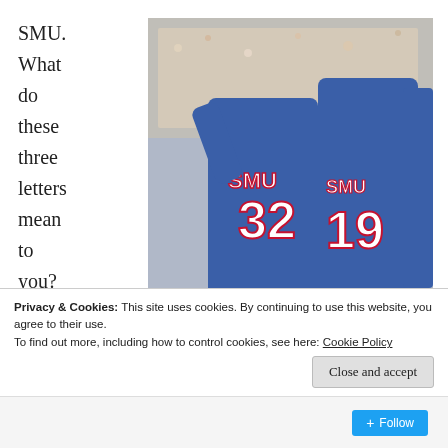SMU. What do these three letters mean to you? Don't worry
[Figure (photo): SMU football players in blue jerseys numbered 32 and 19 celebrating with crowd in background]
With the “Pony Express” of Eric Dickerson and Craig James, SMU became one of college football’s greatest dynasties
Privacy & Cookies: This site uses cookies. By continuing to use this website, you agree to their use.
To find out more, including how to control cookies, see here: Cookie Policy
Close and accept